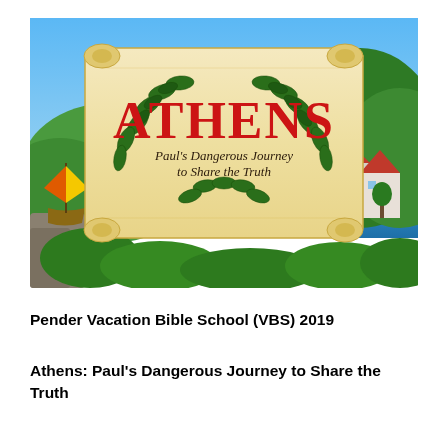[Figure (illustration): Illustrated image for Athens VBS 2019 showing a scroll with 'ATHENS' in red letters decorated with olive/laurel branches, subtitle text 'Paul's Dangerous Journey to Share the Truth' on the scroll. Background shows a Greek coastal scene with a sailing ship, blue sky, green hills, and a village with red-roofed buildings.]
Pender Vacation Bible School (VBS) 2019
Athens: Paul's Dangerous Journey to Share the Truth